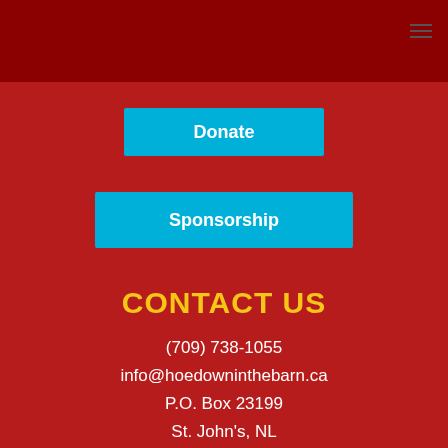[Figure (screenshot): Red website header bar with hamburger menu icon in top right corner]
Donate
Sponsorship
CONTACT US
(709) 738-1055
info@hoedowninthebarn.ca
P.O. Box 23199
St. John's, NL
A1B 2J9